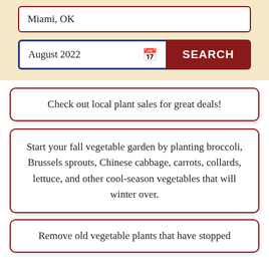[Figure (screenshot): Search panel with location input showing 'Miami, OK', a date input showing 'August 2022' with calendar icon, and a dark red SEARCH button, on a tan/beige background.]
Check out local plant sales for great deals!
Start your fall vegetable garden by planting broccoli, Brussels sprouts, Chinese cabbage, carrots, collards, lettuce, and other cool-season vegetables that will winter over.
Remove old vegetable plants that have stopped